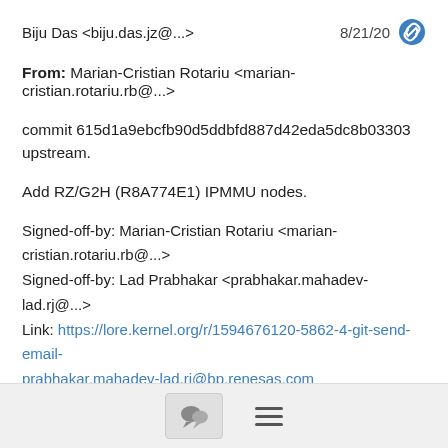Biju Das <biju.das.jz@...>   8/21/20
From: Marian-Cristian Rotariu <marian-cristian.rotariu.rb@...>
commit 615d1a9ebcfb90d5ddbfd887d42eda5dc8b03303 upstream.
Add RZ/G2H (R8A774E1) IPMMU nodes.
Signed-off-by: Marian-Cristian Rotariu <marian-cristian.rotariu.rb@...>
Signed-off-by: Lad Prabhakar <prabhakar.mahadev-lad.rj@...>
Link: https://lore.kernel.org/r/1594676120-5862-4-git-send-email-prabhakar.mahadev-lad.rj@bp.renesas.com
Signed-off-by: Geert Uytterhoeven <geert+renesas@...>
Signed-off-by: Biju Das <biju.das.jz@...>
---
 arch/arm64/boot/dts/renesas/r8a774e1.dtsi | 121